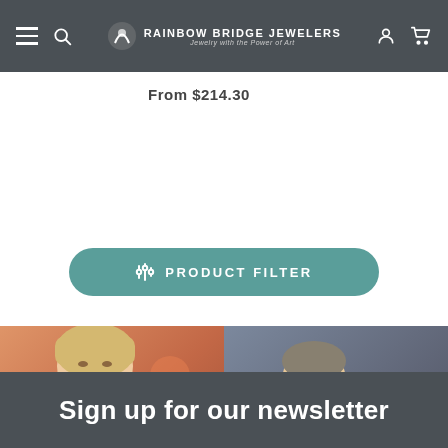Rainbow Bridge Jewelers — Jewelry with the Power of Art
From $214.30
PRODUCT FILTER
[Figure (photo): Left half: smiling woman in orange/red dress wearing jewelry at a social event. Right half: older man in tuxedo holding a large decorative metallic bell or dome sculpture.]
Sign up for our newsletter